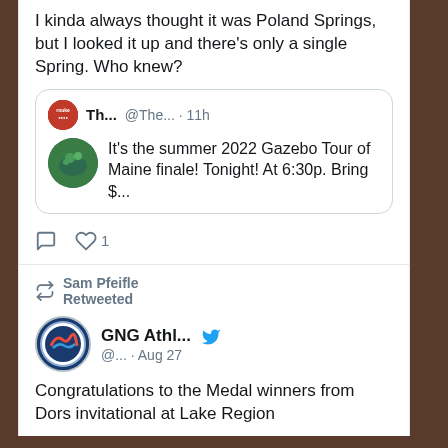I kinda always thought it was Poland Springs, but I looked it up and there's only a single Spring. Who knew?
[Figure (screenshot): Quoted tweet from Th... @The... · 11h with green avatar: It's the summer 2022 Gazebo Tour of Maine finale! Tonight! At 6:30p. Bring $...]
♡ 1
Sam Pfeifle Retweeted
GNG Athl... @... · Aug 27
Congratulations to the Medal winners from Dors invitational at Lake Region